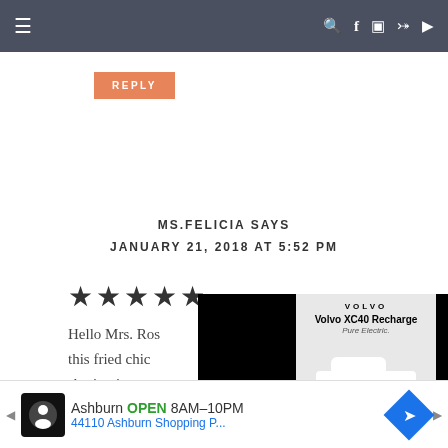Navigation bar with menu, search, Facebook, Instagram, Pinterest, YouTube icons
REPLY
MS.FELICIA SAYS
JANUARY 21, 2018 AT 5:52 PM
★★★★★
Hello Mrs. Ros... this fried chic... sharing it was... time to time w...
[Figure (photo): Volvo XC40 Recharge advertisement overlay with car image]
Ashburn OPEN 8AM–10PM 44110 Ashburn Shopping P...